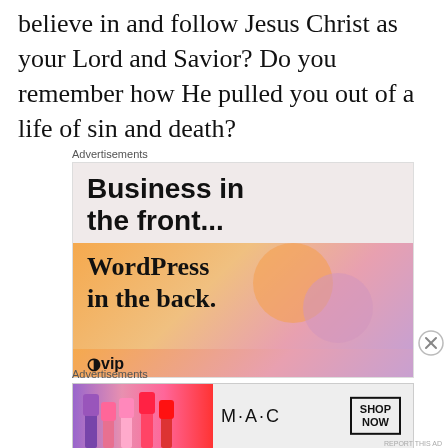believe in and follow Jesus Christ as your Lord and Savior? Do you remember how He pulled you out of a life of sin and death?
Advertisements
[Figure (illustration): Advertisement for WordPress: top section light pink/gray background with bold text 'Business in the front...', bottom section gradient orange-pink-purple background with bold serif text 'WordPress in the back.' and WordPress logo partially visible at bottom]
Advertisements
[Figure (illustration): MAC Cosmetics advertisement banner showing colorful lipsticks on left side, MAC logo in center, and SHOP NOW button on right]